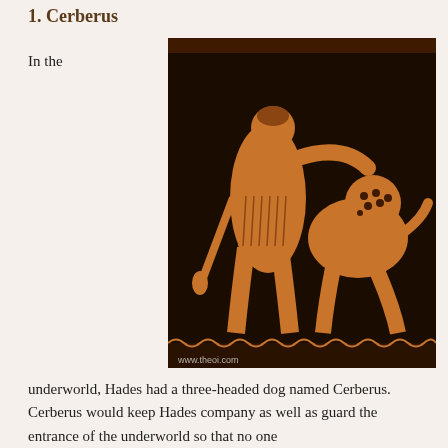1. Cerberus
In the
[Figure (photo): Ancient Greek red-figure pottery depicting Heracles wrestling with Cerberus. The image shows a muscular male figure in Greek attire grasping a creature, on a dark background. Watermark reads www.theoi.com]
underworld, Hades had a three-headed dog named Cerberus. Cerberus would keep Hades company as well as guard the entrance of the underworld so that no one